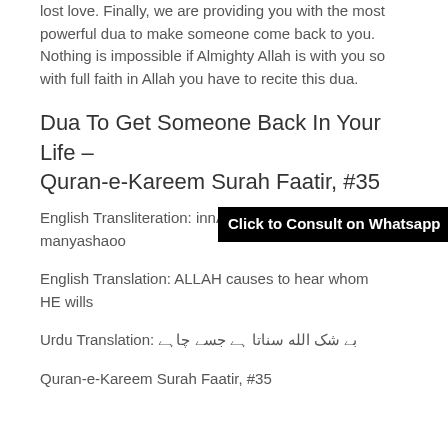lost love. Finally, we are providing you with the most powerful dua to make someone come back to you. Nothing is impossible if Almighty Allah is with you so with full faith in Allah you have to recite this dua.
Dua To Get Someone Back In Your Life – Quran-e-Kareem Surah Faatir, #35
English Transliteration: innALLAHA yusmiu' manyashaoo
English Translation: ALLAH causes to hear whom HE wills
Urdu Translation: بے شک الله سناتا ہے جسے چاہے
Quran-e-Kareem Surah Faatir, #35